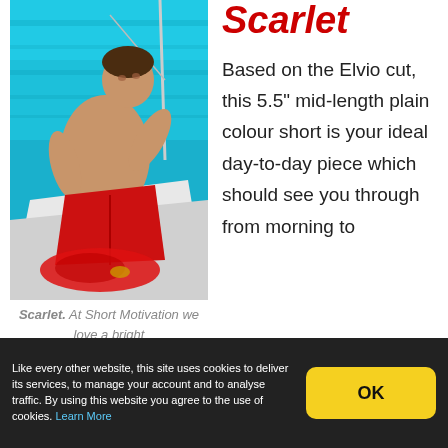[Figure (photo): Male model wearing red swim shorts, reclining on a boat deck with turquoise water in the background]
Scarlet. At Short Motivation we love a bright
Scarlet
Based on the Elvio cut, this 5.5" mid-length plain colour short is your ideal day-to-day piece which should see you through from morning to
Like every other website, this site uses cookies to deliver its services, to manage your account and to analyse traffic. By using this website you agree to the use of cookies. Learn More
OK